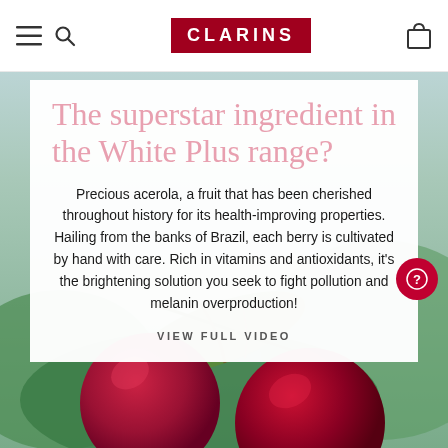[Figure (logo): Clarins logo — white text on dark red/burgundy background rectangle in navigation bar]
The superstar ingredient in the White Plus range?
Precious acerola, a fruit that has been cherished throughout history for its health-improving properties. Hailing from the banks of Brazil, each berry is cultivated by hand with care. Rich in vitamins and antioxidants, it's the brightening solution you seek to fight pollution and melanin overproduction!
VIEW FULL VIDEO
[Figure (photo): Close-up photo of red acerola berries on a branch with green/blue background visible at bottom of page]